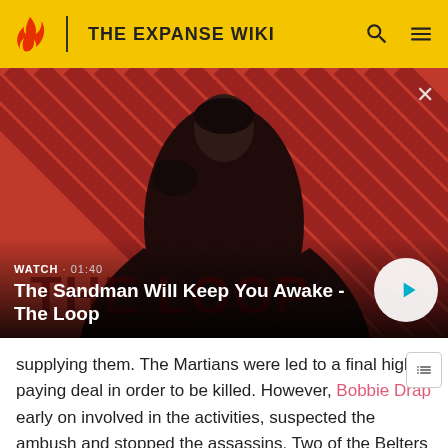THE EXPANSE WIKI
[Figure (screenshot): Video thumbnail showing a dark-clothed figure with a raven on shoulder against a red diagonal-striped background. Title card reads 'The Sandman Will Keep You Awake - The Loop'. Watch duration: 01:40.]
supplying them. The Martians were led to a final high paying deal in order to be killed. However, Bobbie Drap early on involved in the activities, suspected the ambush and stopped the assassins. Two of the Belters escaped, but had a bomb device planted that denonated,